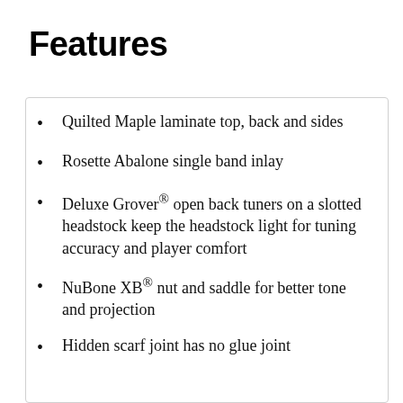Features
Quilted Maple laminate top, back and sides
Rosette Abalone single band inlay
Deluxe Grover® open back tuners on a slotted headstock keep the headstock light for tuning accuracy and player comfort
NuBone XB® nut and saddle for better tone and projection
Hidden scarf joint has no glue joint…